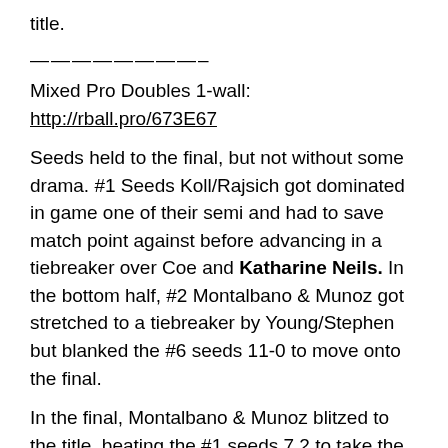title.
————————–
Mixed Pro Doubles 1-wall: http://rball.pro/673E67
Seeds held to the final, but not without some drama. #1 Seeds Koll/Rajsich got dominated in game one of their semi and had to save match point against before advancing in a tiebreaker over Coe and Katharine Neils. In the bottom half, #2 Montalbano & Munoz got stretched to a tiebreaker by Young/Stephen but blanked the #6 seeds 11-0 to move onto the final.
In the final, Montalbano & Munoz blitzed to the title, beating the #1 seeds 7,2 to take the title.
————————–
Congrats to all who competed; it looked like a great event and great weather from all the streaming